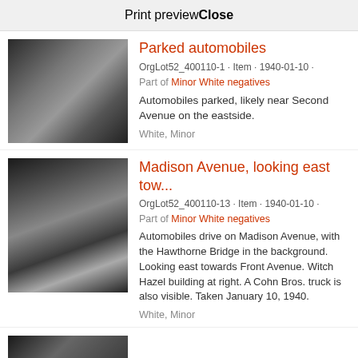Print preview | Close
Parked automobiles
OrgLot52_400110-1 · Item · 1940-01-10 ·
Part of Minor White negatives
Automobiles parked, likely near Second Avenue on the eastside.
White, Minor
[Figure (photo): Black and white photograph of parked automobiles]
Madison Avenue, looking east tow...
OrgLot52_400110-13 · Item · 1940-01-10 ·
Part of Minor White negatives
Automobiles drive on Madison Avenue, with the Hawthorne Bridge in the background. Looking east towards Front Avenue. Witch Hazel building at right. A Cohn Bros. truck is also visible. Taken January 10, 1940.
White, Minor
[Figure (photo): Black and white photograph of Madison Avenue looking east toward Hawthorne Bridge]